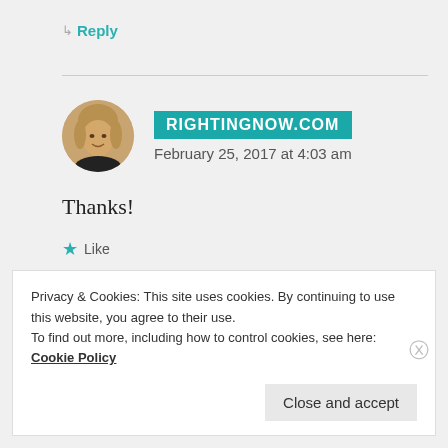↳ Reply
[Figure (photo): Circular avatar photo of a woman with short blonde hair]
RIGHTINGNOW.COM
February 25, 2017 at 4:03 am
Thanks!
★ Like
↳ Reply
Privacy & Cookies: This site uses cookies. By continuing to use this website, you agree to their use.
To find out more, including how to control cookies, see here: Cookie Policy
Close and accept